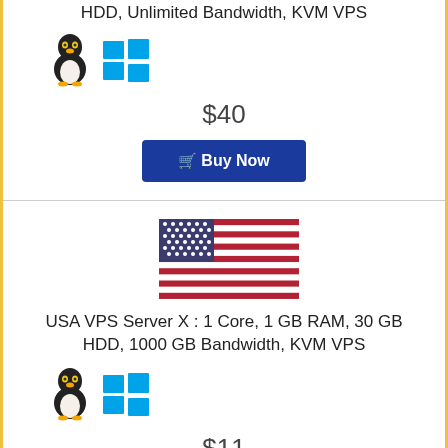HDD, Unlimited Bandwidth, KVM VPS
[Figure (illustration): Linux Tux penguin and Windows logo icons]
$40
Buy Now
[Figure (illustration): USA flag]
USA VPS Server X : 1 Core, 1 GB RAM, 30 GB HDD, 1000 GB Bandwidth, KVM VPS
[Figure (illustration): Linux Tux penguin and Windows logo icons]
$11
Buy Now